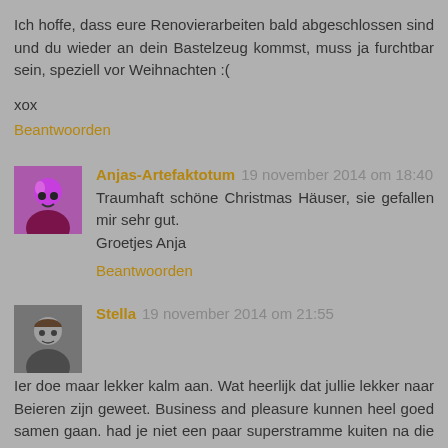Ich hoffe, dass eure Renovierarbeiten bald abgeschlossen sind und du wieder an dein Bastelzeug kommst, muss ja furchtbar sein, speziell vor Weihnachten :(
xox
Beantwoorden
Anjas-Artefaktotum 19 november 2014 om 18:40
Traumhaft schöne Christmas Häuser, sie gefallen mir sehr gut.
Groetjes Anja
Beantwoorden
Stella 19 november 2014 om 21:55
Ier doe maar lekker kalm aan. Wat heerlijk dat jullie lekker naar Beieren zijn geweet. Business and pleasure kunnen heel goed samen gaan. had je niet een paar superstramme kuiten na die klim? Ik ken het kasteel van plaatjes; hoop het